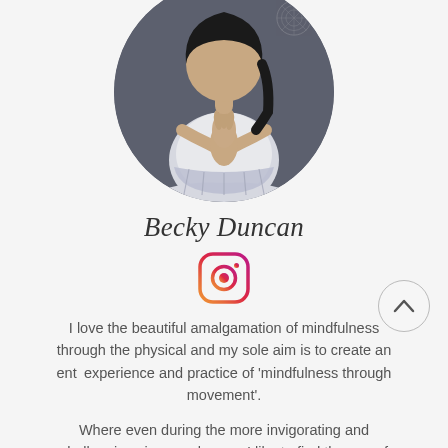[Figure (photo): Circular profile photo of Becky Duncan in a yoga prayer pose (anjali mudra), wearing a light top, dark background with a decorative mandala/lotus element in the top right]
Becky Duncan
[Figure (logo): Instagram logo icon with gradient border (purple to orange-yellow)]
I love the beautiful amalgamation of mindfulness through the physical and my sole aim is to create an ent... experience and practice of 'mindfulness through movement'.
Where even during the more invigorating and challenging vinyasa classes, I like to find the eye of the storm. The calmness abiding all